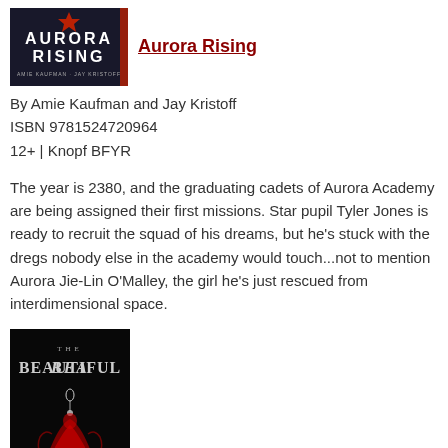[Figure (illustration): Book cover of Aurora Rising showing white text on dark background with sci-fi styling]
Aurora Rising
By Amie Kaufman and Jay Kristoff
ISBN 9781524720964
12+ | Knopf BFYR
The year is 2380, and the graduating cadets of Aurora Academy are being assigned their first missions. Star pupil Tyler Jones is ready to recruit the squad of his dreams, but he's stuck with the dregs nobody else in the academy would touch...not to mention Aurora Jie-Lin O'Malley, the girl he's just rescued from interdimensional space.
[Figure (illustration): Book cover of The Beautiful showing dark background with ornate lettering and red figure]